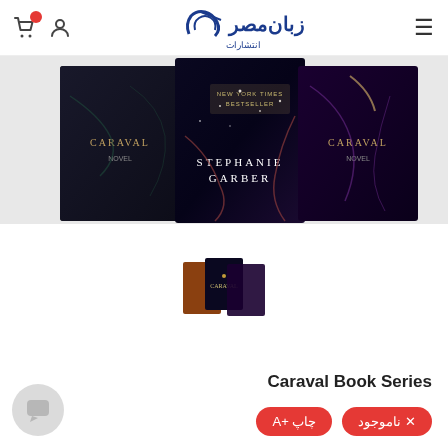زبان‌مصر انتشارات — navigation header with cart, user, logo, hamburger menu
[Figure (photo): Three Caraval book series book covers arranged overlapping: dark fantasy covers with ornate designs by Stephanie Garber, New York Times Bestseller label visible on center book]
[Figure (photo): Small thumbnail image of the Caraval book series set]
Caraval Book Series
ناموجود X
چاپ +A